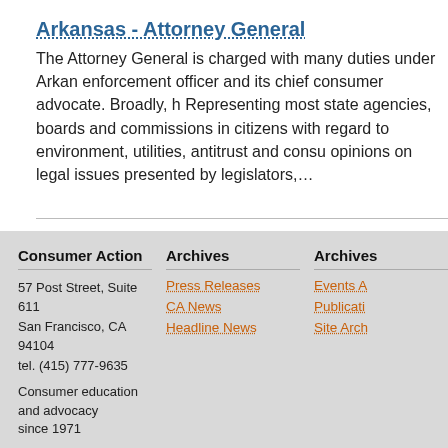Arkansas - Attorney General
The Attorney General is charged with many duties under Arkansas law, serving as the state's chief law enforcement officer and its chief consumer advocate. Broadly, her duties include: Representing most state agencies, boards and commissions in court; Protecting the interests of Arkansas citizens with regard to environment, utilities, antitrust and consumer protection; Issuing formal opinions on legal issues presented by legislators,…
1 2 3 > Last ›
Consumer Action
57 Post Street, Suite 611
San Francisco, CA 94104
tel. (415) 777-9635

Consumer education and advocacy since 1971
Archives
Press Releases
CA News
Headline News
Archives
Events A
Publicati
Site Arch